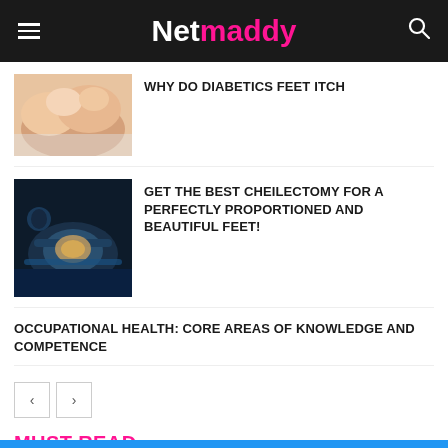Netmaddy
WHY DO DIABETICS FEET ITCH
[Figure (photo): Close-up of hands scratching a foot, skin-toned background]
[Figure (photo): Medical/surgical procedure on a foot, dark background with blue/teal tones]
GET THE BEST CHEILECTOMY FOR A PERFECTLY PROPORTIONED AND BEAUTIFUL FEET!
OCCUPATIONAL HEALTH: CORE AREAS OF KNOWLEDGE AND COMPETENCE
MUST READ